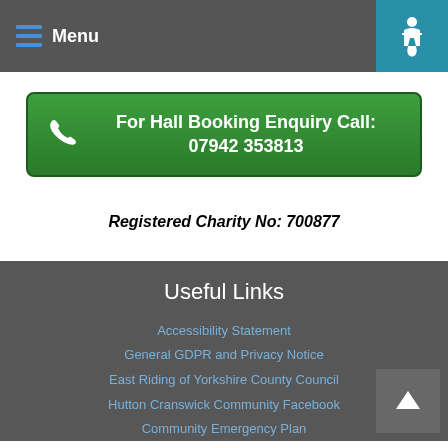Menu
For Hall Booking Enquiry Call: 07942 353813
Registered Charity No: 700877
Useful Links
Accessibility Statement
General GDPR and Privacy Notice
East Riding of Yorkshire County Council
Hutton Cranswick Community Facebook
Community Emergency Plan